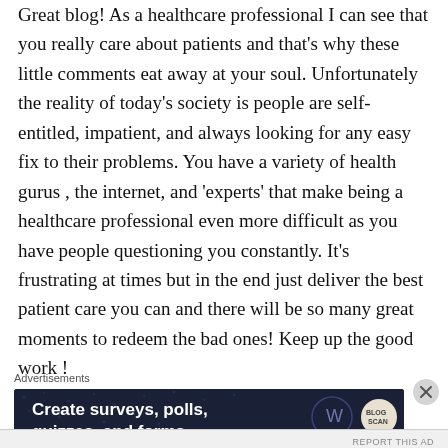Great blog! As a healthcare professional I can see that you really care about patients and that's why these little comments eat away at your soul. Unfortunately the reality of today's society is people are self-entitled, impatient, and always looking for any easy fix to their problems. You have a variety of health gurus , the internet, and 'experts' that make being a healthcare professional even more difficult as you have people questioning you constantly. It's frustrating at times but in the end just deliver the best patient care you can and there will be so many great moments to redeem the bad ones! Keep up the good work !
Advertisements
[Figure (other): Advertisement banner with dark navy background showing 'Create surveys, polls, quizzes, and forms.' with WordPress logo and blog icon]